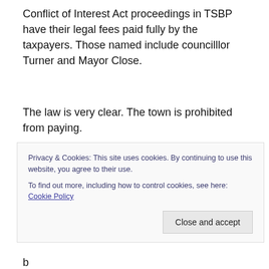Conflict of Interest Act proceedings in TSBP have their legal fees paid fully by the taxpayers. Those named include councilllor Turner and Mayor Close.
The law is very clear. The town is prohibited from paying.
The purchased insurance policy is very clear. The insurance company will not pay unless and until a finding of “non-contravention” (like a finding of innocence) is
Privacy & Cookies: This site uses cookies. By continuing to use this website, you agree to their use.
To find out more, including how to control cookies, see here: Cookie Policy
Close and accept
b